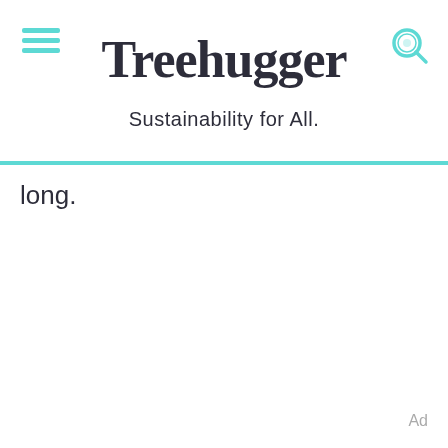Treehugger — Sustainability for All.
long.
Ad